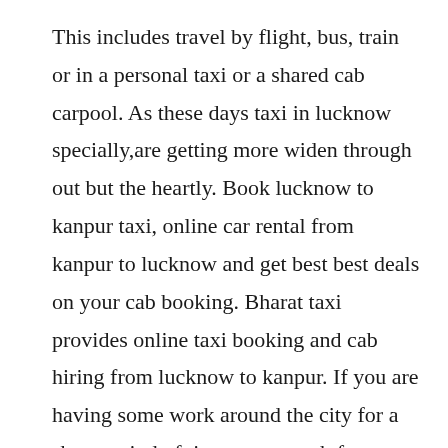This includes travel by flight, bus, train or in a personal taxi or a shared cab carpool. As these days taxi in lucknow specially,are getting more widen through out but the heartly. Book lucknow to kanpur taxi, online car rental from kanpur to lucknow and get best best deals on your cab booking. Bharat taxi provides online taxi booking and cab hiring from lucknow to kanpur. If you are having some work around the city for a short period of time, want a cab for airport or railway station transfer, or wanted a cab to go for a shopping or attending